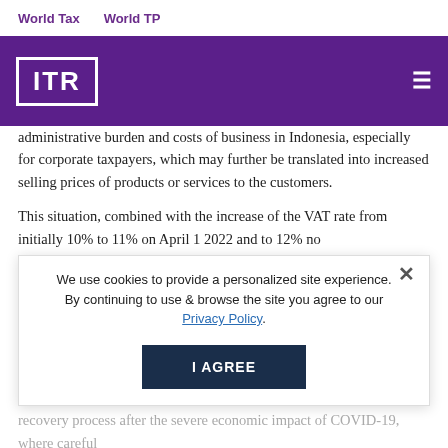World Tax    World TP
[Figure (logo): ITR logo in white on purple header bar with hamburger menu icon]
administrative burden and costs of business in Indonesia, especially for corporate taxpayers, which may further be translated into increased selling prices of products or services to the customers.
This situation, combined with the increase of the VAT rate from initially 10% to 11% on April 1 2022 and to 12% no later than January 1 2025, may significantly change customer behaviour in considering their purchases, especially for non-basic needs with high prices.
An expected price increase in the short term, particularly for electricity, fuel, and primary materials, should be considered, especially in planning the taxpayer's future business strategies during the recovery process after the severe economic impact of COVID-19, where careful